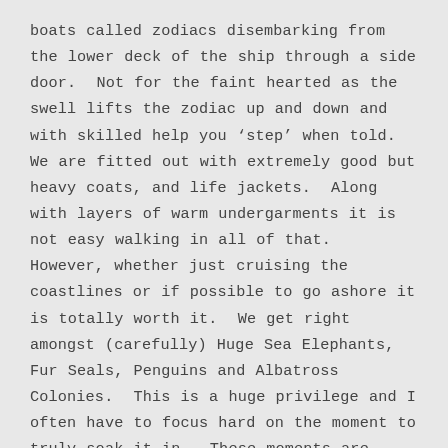boats called zodiacs disembarking from the lower deck of the ship through a side door.  Not for the faint hearted as the swell lifts the zodiac up and down and with skilled help you 'step' when told.  We are fitted out with extremely good but heavy coats, and life jackets.  Along with layers of warm undergarments it is not easy walking in all of that.  However, whether just cruising the coastlines or if possible to go ashore it is totally worth it.  We get right amongst (carefully) Huge Sea Elephants, Fur Seals, Penguins and Albatross Colonies.  This is a huge privilege and I often have to focus hard on the moment to truly soak it in.  These moments are special and not that easy to portray even through photos let alone the written word.  Truly magical and almost 'another world'.
I must mention though that this part of the world is not easy to get to; we travelled many days and miles across